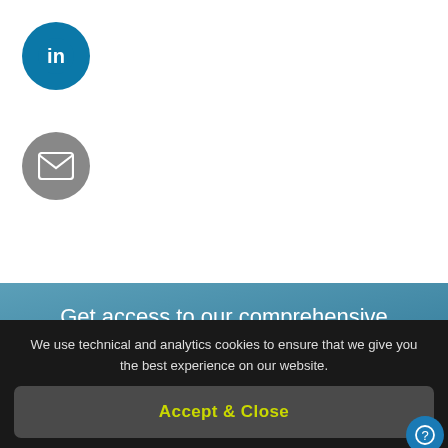[Figure (logo): LinkedIn icon — white 'in' text on dark teal circular background]
[Figure (logo): Email/envelope icon — white envelope on grey circular background]
Get access to our comprehensive catalogue (and more)
Start your free trial
We use technical and analytics cookies to ensure that we give you the best experience on our website.
Accept & Close